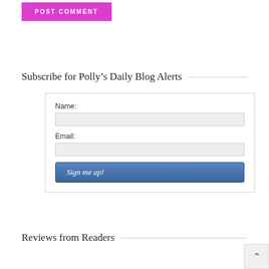POST COMMENT
Subscribe for Polly’s Daily Blog Alerts
Name:
Email:
Sign me up!
Reviews from Readers